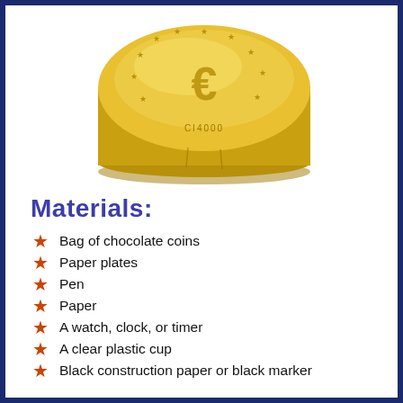[Figure (photo): A gold foil-wrapped chocolate coin with a euro symbol on the face, viewed at a slight angle showing the coin's thickness.]
Materials:
Bag of chocolate coins
Paper plates
Pen
Paper
A watch, clock, or timer
A clear plastic cup
Black construction paper or black marker